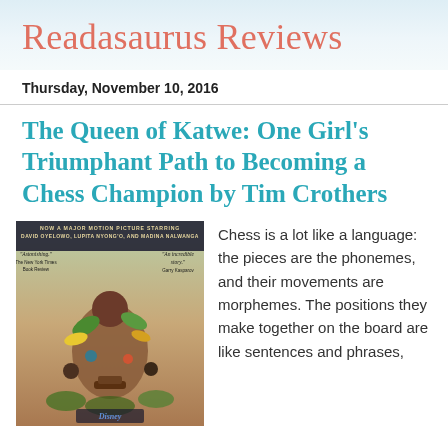Readasaurus Reviews
Thursday, November 10, 2016
The Queen of Katwe: One Girl's Triumphant Path to Becoming a Chess Champion by Tim Crothers
[Figure (photo): Book cover of 'The Queen of Katwe' showing a Disney movie tie-in edition with text: 'NOW A MAJOR MOTION PICTURE STARRING DAVID OYELOWO, LUPITA NYONG'O, AND MADINA NALWANGA'. Quotes from The New York Times Book Review ('Astonishing.') and Gerry Kasparov ('An incredible story.'). Illustrated cover with figures and tropical elements.]
Chess is a lot like a language: the pieces are the phonemes, and their movements are morphemes. The positions they make together on the board are like sentences and phrases,